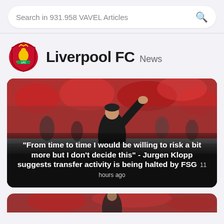Search in 931.958 VAVEL Articles
Liverpool FC News
[Figure (photo): A person (Jurgen Klopp) in a black outfit waving to a crowd in a stadium filled with fans in red, with a blurred background.]
"From time to time I would be willing to risk a bit more but I don't decide this" - Jurgen Klopp suggests transfer activity is being halted by FSG  11 hours ago
[Figure (photo): Partial view of a second article card showing a red-toned stadium crowd photo.]